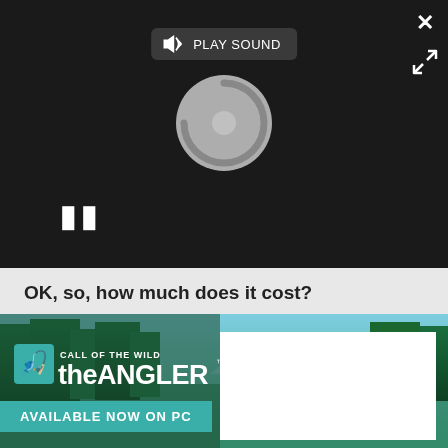[Figure (screenshot): Video player with dark background, loading spinner, pause button, play sound bar, close button and expand icon]
OK, so, how much does it cost?
Episodes will be delivered weekly at $1.99 each. You'll be able to purchase back episodes from the Steam store at any time.
Will PC Gamer Digital be available worldwide?
[Figure (illustration): Call of the Wild: theANGLER game advertisement banner with forest lake background. Text: CALL OF THE WILD theANGLER AVAILABLE NOW ON PC]